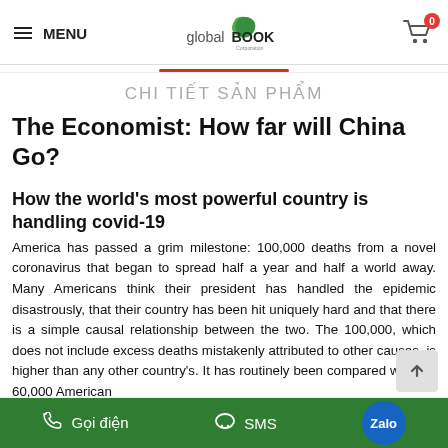MENU | global BOOK Corporation | Cart (0)
CHI TIẾT SẢN PHẨM
The Economist: How far will China Go?
How the world's most powerful country is handling covid-19
America has passed a grim milestone: 100,000 deaths from a novel coronavirus that began to spread half a year and half a world away. Many Americans think their president has handled the epidemic disastrously, that their country has been hit uniquely hard and that there is a simple causal relationship between the two. The 100,000, which does not include excess deaths mistakenly attributed to other causes, is higher than any other country's. It has routinely been compared with the 60,000 American
Gọi điện | SMS | Zalo